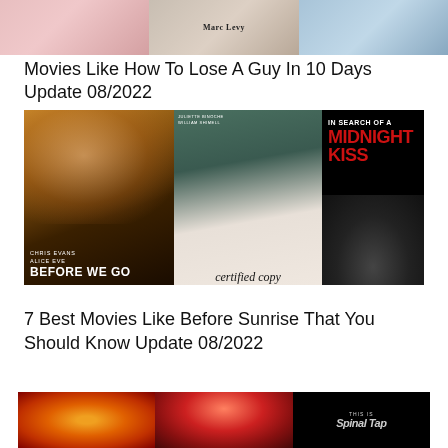[Figure (photo): Strip of three movie poster images at top: pink/romantic tones on left, Marc Levy book/movie in center, blue-toned image on right]
Movies Like How To Lose A Guy In 10 Days Update 08/2022
[Figure (photo): Three movie posters side by side: Before We Go (Chris Evans, Alice Eve), Certified Copy, In Search of a Midnight Kiss]
7 Best Movies Like Before Sunrise That You Should Know Update 08/2022
[Figure (photo): Three partial movie poster images at bottom: golden/fire toned on left, red/orange tones in center, This Is Spinal Tap black on right]